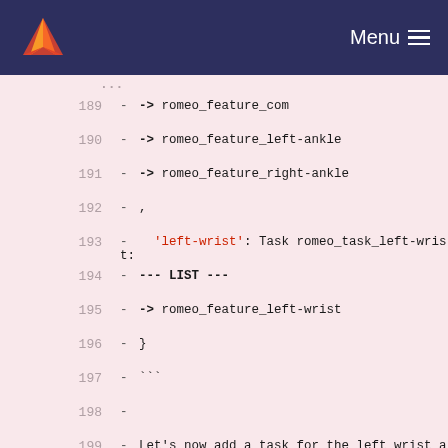Menu
189  - -> romeo_feature_com
190  - -> romeo_feature_left-ankle
191  - -> romeo_feature_right-ankle
192  - ,
193  - 'left-wrist': Task romeo_task_left-wrist:
194  - --- LIST ---
195  - -> romeo_feature_left-wrist
196  - }
197  - ```
198  -
199  - Let's now add a task for the left wrist and define its objective.
200  - As a 6d task, it is possible to define the objective by providing directly the homogeneous matrix.
201  - To simplify its definition, we are going to use an entity that converts 6d vectors (x,y, z, roll, pitch, yaw) into homogeneous...